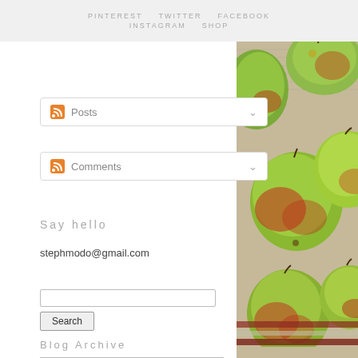PINTEREST   TWITTER   FACEBOOK   INSTAGRAM   SHOP
Posts (feed dropdown)
Comments (feed dropdown)
Say hello
stephmodo@gmail.com
Search (input and button)
Blog Archive
November 2012 (15)
[Figure (photo): Overhead photo of green and red apples on a burlap/linen cloth with red stripes, photographed from above on a textured surface.]